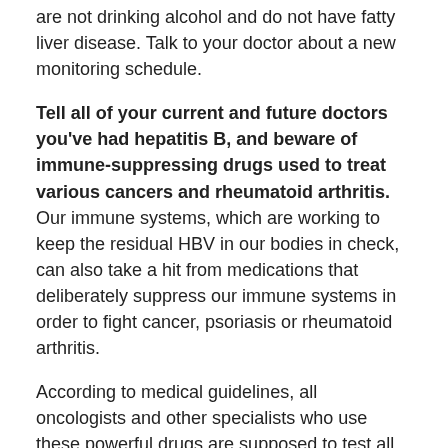are not drinking alcohol and do not have fatty liver disease. Talk to your doctor about a new monitoring schedule.
Tell all of your current and future doctors you've had hepatitis B, and beware of immune-suppressing drugs used to treat various cancers and rheumatoid arthritis. Our immune systems, which are working to keep the residual HBV in our bodies in check, can also take a hit from medications that deliberately suppress our immune systems in order to fight cancer, psoriasis or rheumatoid arthritis.
According to medical guidelines, all oncologists and other specialists who use these powerful drugs are supposed to test all their patients for hepatitis B and carefully monitor anyone who had hepatitis B in the past, which is indicated by a positive test for the hepatitis B core antibody (anti-HBc).
Even if you have had HBe...